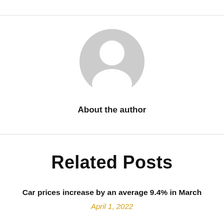[Figure (illustration): Grey placeholder avatar icon showing a generic person silhouette (head and shoulders) in a circle]
About the author
Related Posts
Car prices increase by an average 9.4% in March
April 1, 2022